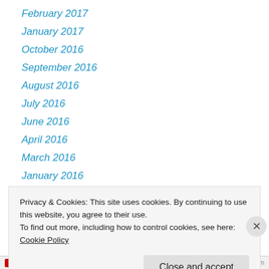February 2017
January 2017
October 2016
September 2016
August 2016
July 2016
June 2016
April 2016
March 2016
January 2016
December 2015
November 2015
October 2015
Privacy & Cookies: This site uses cookies. By continuing to use this website, you agree to their use.
To find out more, including how to control cookies, see here: Cookie Policy
Close and accept